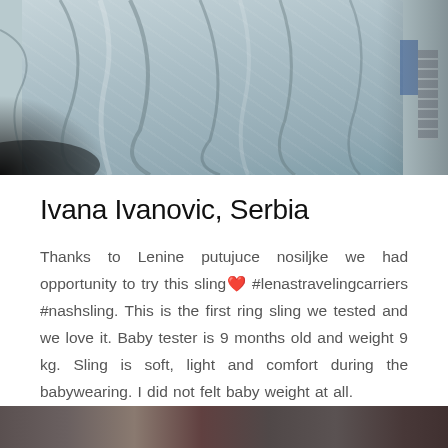[Figure (photo): Photo of a baby wrapped in a light gray/blue ring sling fabric, close-up view showing the sling material draped over the baby. A radiator and blue object are visible in the background.]
Ivana Ivanovic, Serbia
Thanks to Lenine putujuce nosiljke we had opportunity to try this sling❤️ #lenastravelingcarriers #nashsling. This is the first ring sling we tested and we love it. Baby tester is 9 months old and weight 9 kg. Sling is soft, light and comfort during the babywearing. I did not felt baby weight at all.
[Figure (photo): Partial bottom photo, cropped — appears to show another babywearing image, mostly cut off at the bottom of the page.]